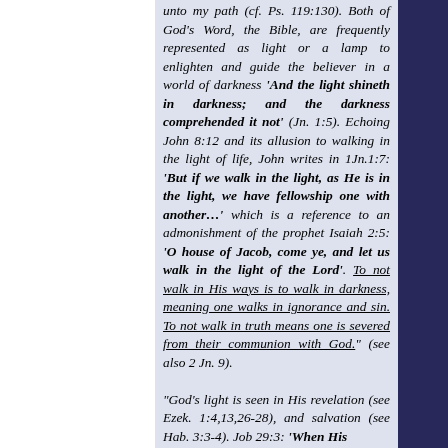unto my path (cf. Ps. 119:130). Both of God's Word, the Bible, are frequently represented as light or a lamp to enlighten and guide the believer in a world of darkness 'And the light shineth in darkness; and the darkness comprehended it not' (Jn. 1:5). Echoing John 8:12 and its allusion to walking in the light of life, John writes in 1Jn.1:7: 'But if we walk in the light, as He is in the light, we have fellowship one with another…' which is a reference to an admonishment of the prophet Isaiah 2:5: 'O house of Jacob, come ye, and let us walk in the light of the Lord'. To not walk in His ways is to walk in darkness, meaning one walks in ignorance and sin. To not walk in truth means one is severed from their communion with God." (see also 2 Jn. 9).

"God's light is seen in His revelation (see Ezek. 1:4,13,26-28), and salvation (see Hab. 3:3-4). Job 29:3: 'When His